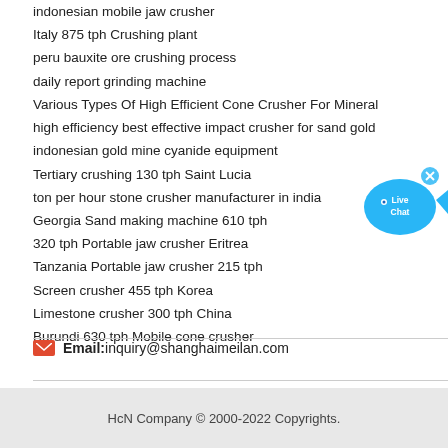indonesian mobile jaw crusher
Italy 875 tph Crushing plant
peru bauxite ore crushing process
daily report grinding machine
Various Types Of High Efficient Cone Crusher For Mineral
high efficiency best effective impact crusher for sand gold
indonesian gold mine cyanide equipment
Tertiary crushing 130 tph Saint Lucia
ton per hour stone crusher manufacturer in india
Georgia Sand making machine 610 tph
320 tph Portable jaw crusher Eritrea
Tanzania Portable jaw crusher 215 tph
Screen crusher 455 tph Korea
Limestone crusher 300 tph China
Burundi 630 tph Mobile cone crusher
[Figure (illustration): Live Chat button - blue speech bubble with fish shape and 'Live Chat' text with X close button]
Email: inquiry@shanghaimeilan.com
HcN Company © 2000-2022 Copyrights.